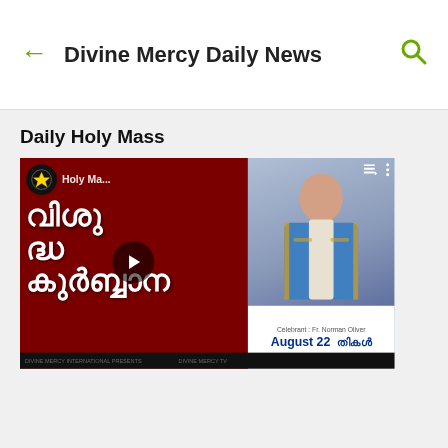Divine Mercy Daily News
Daily Holy Mass
[Figure (screenshot): Video thumbnail showing a Malayalam Catholic Mass video titled 'Holy Ma...' with Malayalam script text (വിശുദ്ധ കുർബ്ബാന) on a red background on the left, and a priest in liturgical vestments on the right. Shows August 22 date text and a play button in the center.]